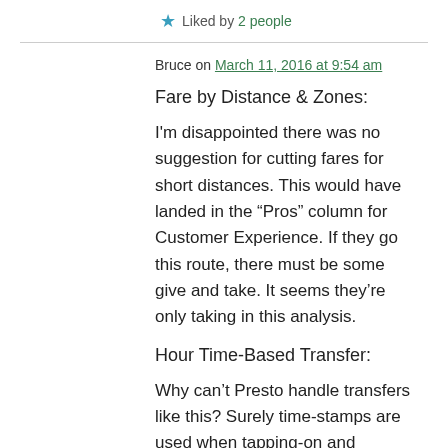★ Liked by 2 people
Bruce on March 11, 2016 at 9:54 am
Fare by Distance & Zones:
I'm disappointed there was no suggestion for cutting fares for short distances. This would have landed in the “Pros” column for Customer Experience. If they go this route, there must be some give and take. It seems they’re only taking in this analysis.
Hour Time-Based Transfer:
Why can’t Presto handle transfers like this? Surely time-stamps are used when tapping-on and tapping-out using these cards? If this is